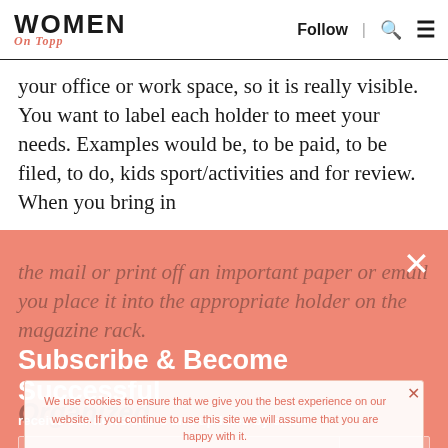Women On Topp | Follow | [search icon] [menu icon]
your office or work space, so it is really visible. You want to label each holder to meet your needs. Examples would be, to be paid, to be filed, to do, kids sport/activities and for review. When you bring in the mail or print off an important paper or email you place it into the appropriate holder on the magazine rack.
Subscribe & Become Successful
receive our newsletters and updates by email
We use cookies to ensure that we give you the best experience on our website. If you continue to use this site we will assume that you are happy with it.
Ok | No | Privacy policy